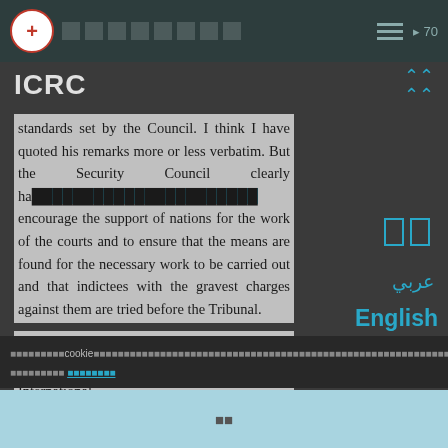ICRC
standards set by the Council. I think I have quoted his remarks more or less verbatim. But the Security Council clearly has the duty to encourage the support of nations for the work of the courts and to ensure that the means are found for the necessary work to be carried out and that indictees with the gravest charges against them are tried before the Tribunal.

So the Security Council legitimately comments on the strategic framework for the International
عربي
English
Español
cookie [cookie notice text in non-Latin script]